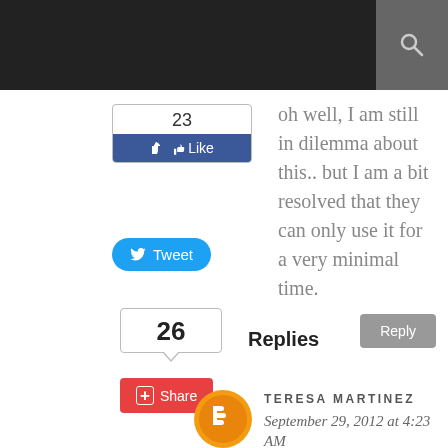[Figure (screenshot): Top navigation bar, dark background with search icon on right]
[Figure (infographic): Facebook Like button showing count 23 and blue Like button]
[Figure (infographic): Twitter Tweet button in blue]
oh well, I am still in dilemma about this.. but I am a bit resolved that they can only use it for a very minimal time.
[Figure (infographic): Vote count box showing 26]
Replies
[Figure (infographic): Reply button (gray)]
[Figure (infographic): Share button in red]
[Figure (infographic): Blogger avatar icon for Teresa Martinez]
TERESA MARTINEZ
September 29, 2012 at 4:23 AM
Does "a bit resolved" mean unsure? If this is the case, there are many of us.
[Figure (infographic): Reply button at bottom (gray)]